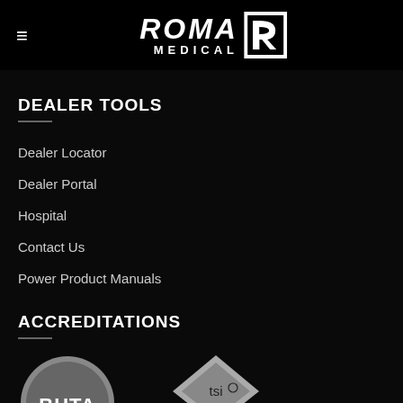[Figure (logo): Roma Medical logo with hamburger menu icon on black header bar]
DEALER TOOLS
Dealer Locator
Dealer Portal
Hospital
Contact Us
Power Product Manuals
ACCREDITATIONS
[Figure (logo): BHTA accreditation logo (circular, grey and white)]
[Figure (logo): TSI accreditation logo (diamond shape, grey and white)]